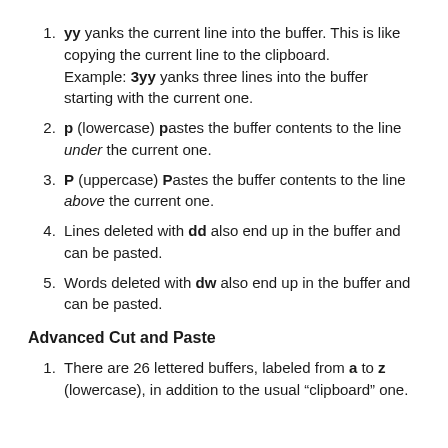yy yanks the current line into the buffer. This is like copying the current line to the clipboard. Example: 3yy yanks three lines into the buffer starting with the current one.
p (lowercase) pastes the buffer contents to the line under the current one.
P (uppercase) Pastes the buffer contents to the line above the current one.
Lines deleted with dd also end up in the buffer and can be pasted.
Words deleted with dw also end up in the buffer and can be pasted.
Advanced Cut and Paste
There are 26 lettered buffers, labeled from a to z (lowercase), in addition to the usual “clipboard” one.